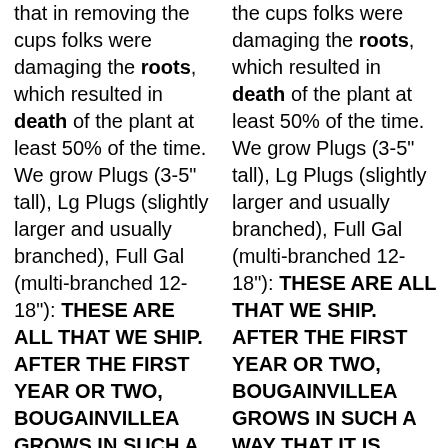that in removing the cups folks were damaging the roots, which resulted in death of the plant at least 50% of the time. We grow Plugs (3-5" tall), Lg Plugs (slightly larger and usually branched), Full Gal (multi-branched 12-18"): THESE ARE ALL THAT WE SHIP. AFTER THE FIRST YEAR OR TWO, BOUGAINVILLEA GROWS IN SUCH A WAY THAT IT IS
the cups folks were damaging the roots, which resulted in death of the plant at least 50% of the time. We grow Plugs (3-5" tall), Lg Plugs (slightly larger and usually branched), Full Gal (multi-branched 12-18"): THESE ARE ALL THAT WE SHIP. AFTER THE FIRST YEAR OR TWO, BOUGAINVILLEA GROWS IN SUCH A WAY THAT IT IS BRITTLE AND BREAKS, NOT